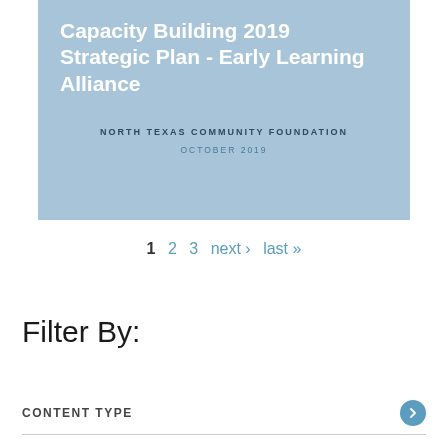Capacity Building 2019 Strategic Plan - Early Learning Alliance
NORTH TEXAS COMMUNITY FOUNDATION
OCTOBER 2019
1  2  3  next ›  last »
Filter By:
CONTENT TYPE